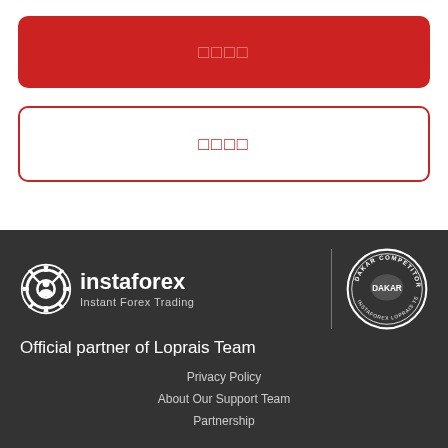[Figure (other): Red filled rounded rectangle button with placeholder text (squares)]
[Figure (other): White outlined rounded rectangle button with red placeholder text (squares)]
[Figure (logo): InstaForex logo with gear icon and text 'Instant Forex Trading', plus Dakar Competitor badge for InstaForex Loprais Team]
Official partner of Loprais Team
Privacy Policy
About Our Support Team
Partnership